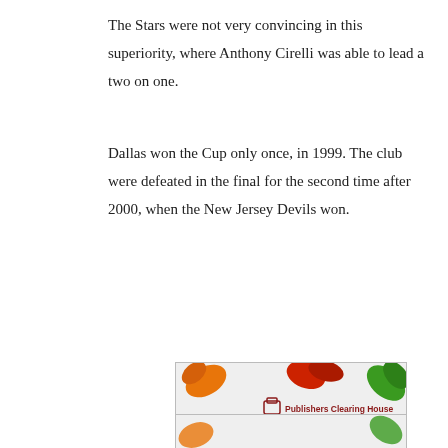The Stars were not very convincing in this superiority, where Anthony Cirelli was able to lead a two on one.
Dallas won the Cup only once, in 1999. The club were defeated in the final for the second time after 2000, when the New Jersey Devils won.
[Figure (infographic): Publishers Clearing House advertisement: WIN $7,000.00 A WEEK FOR LIFE! Enter Now! Prize Event Winner Announced 10/31 on CNN, FOX News, MSNBC. Autumn leaf decorations around the border.]
[Figure (infographic): Partial second Publishers Clearing House advertisement visible at bottom of page.]